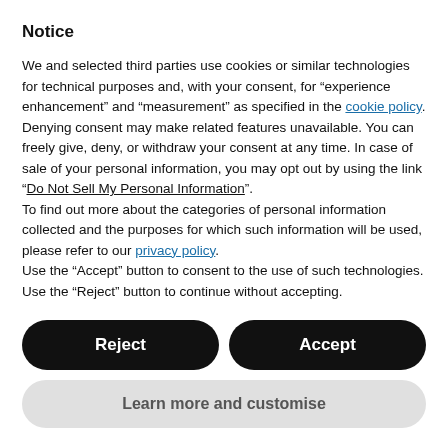Notice
We and selected third parties use cookies or similar technologies for technical purposes and, with your consent, for “experience enhancement” and “measurement” as specified in the cookie policy. Denying consent may make related features unavailable. You can freely give, deny, or withdraw your consent at any time. In case of sale of your personal information, you may opt out by using the link “Do Not Sell My Personal Information”. To find out more about the categories of personal information collected and the purposes for which such information will be used, please refer to our privacy policy. Use the “Accept” button to consent to the use of such technologies. Use the “Reject” button to continue without accepting.
Reject
Accept
Learn more and customise